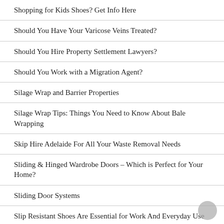Shopping for Kids Shoes? Get Info Here
Should You Have Your Varicose Veins Treated?
Should You Hire Property Settlement Lawyers?
Should You Work with a Migration Agent?
Silage Wrap and Barrier Properties
Silage Wrap Tips: Things You Need to Know About Bale Wrapping
Skip Hire Adelaide For All Your Waste Removal Needs
Sliding & Hinged Wardrobe Doors – Which is Perfect for Your Home?
Sliding Door Systems
Slip Resistant Shoes Are Essential for Work And Everyday Use